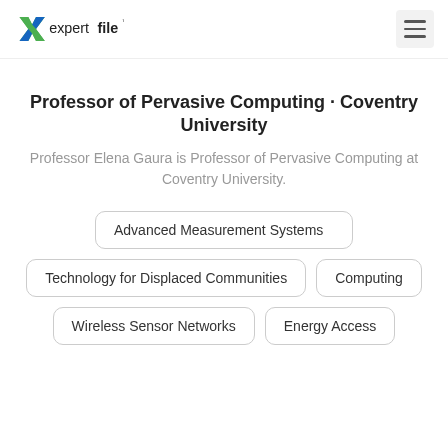expertfile
Professor of Pervasive Computing · Coventry University
Professor Elena Gaura is Professor of Pervasive Computing at Coventry University.
Advanced Measurement Systems
Technology for Displaced Communities
Computing
Wireless Sensor Networks
Energy Access